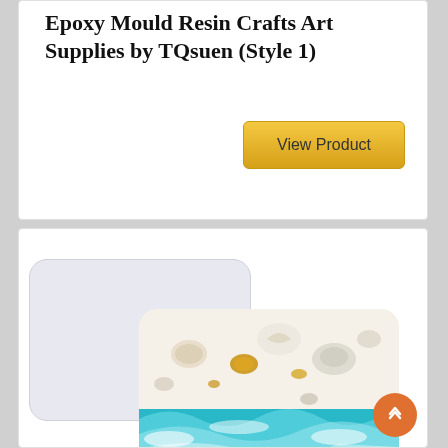Epoxy Mould Resin Crafts Art Supplies by TQsuen (Style 1)
[Figure (other): View Product button with gold/yellow gradient background]
[Figure (photo): Product photo showing a white silicone rectangular mold and a finished resin coaster with ocean/beach design featuring seashells and turquoise waves]